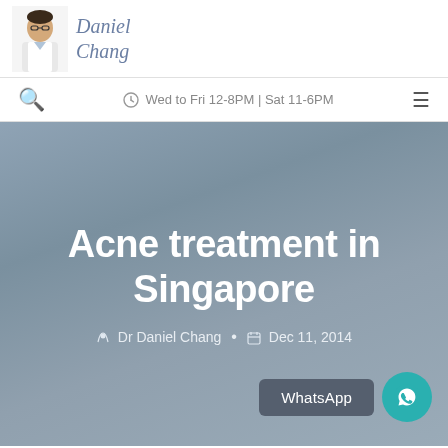[Figure (photo): Photo of Dr Daniel Chang in white coat, with cursive signature text 'Daniel Chang' beside it]
Wed to Fri 12-8PM | Sat 11-6PM
Acne treatment in Singapore
Dr Daniel Chang • Dec 11, 2014
WhatsApp